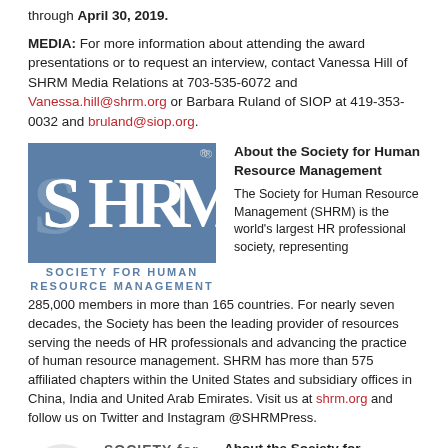through April 30, 2019.
MEDIA: For more information about attending the award presentations or to request an interview, contact Vanessa Hill of SHRM Media Relations at 703-535-6072 and Vanessa.hill@shrm.org or Barbara Ruland of SIOP at 419-353-0032 and bruland@siop.org.
[Figure (logo): SHRM (Society for Human Resource Management) logo — blue square with white letters SHRM and text SOCIETY FOR HUMAN RESOURCE MANAGEMENT below in blue]
About the Society for Human Resource Management
The Society for Human Resource Management (SHRM) is the world's largest HR professional society, representing 285,000 members in more than 165 countries. For nearly seven decades, the Society has been the leading provider of resources serving the needs of HR professionals and advancing the practice of human resource management. SHRM has more than 575 affiliated chapters within the United States and subsidiary offices in China, India and United Arab Emirates. Visit us at shrm.org and follow us on Twitter and Instagram @SHRMPress.
[Figure (logo): SIOP (Society for Industrial and Organizational Psychology) logo — circular icon with red arrow/chart graphic and SIOP text, with full wordmark SOCIETY for INDUSTRIAL and ORGANIZATIONAL PSYCHOLOGY]
About the Society for Industrial and Organizational Psychology